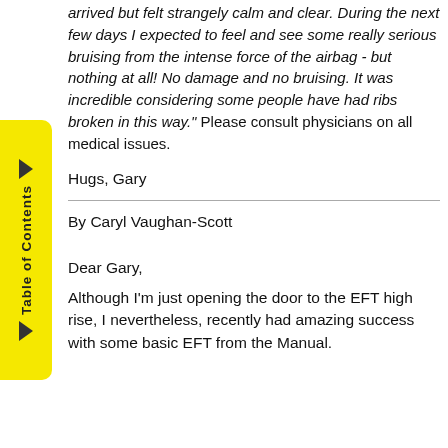arrived but felt strangely calm and clear. During the next few days I expected to feel and see some really serious bruising from the intense force of the airbag - but nothing at all! No damage and no bruising. It was incredible considering some people have had ribs broken in this way." Please consult physicians on all medical issues.
Hugs, Gary
By Caryl Vaughan-Scott
Dear Gary,
Although I'm just opening the door to the EFT high rise, I nevertheless, recently had amazing success with some basic EFT from the Manual.